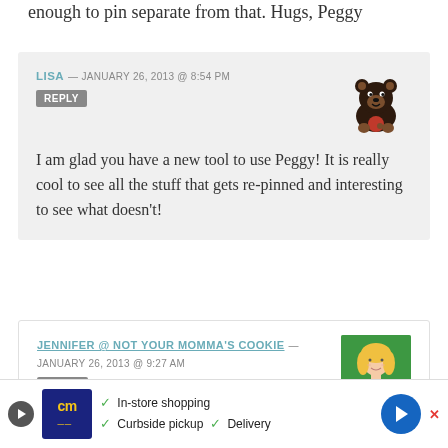enough to pin separate from that. Hugs, Peggy
LISA — JANUARY 26, 2013 @ 8:54 PM
REPLY
I am glad you have a new tool to use Peggy! It is really cool to see all the stuff that gets re-pinned and interesting to see what doesn't!
JENNIFER @ NOT YOUR MOMMA'S COOKIE — JANUARY 26, 2013 @ 9:27 AM
REPLY
I le...
In-store shopping  Curbside pickup  Delivery